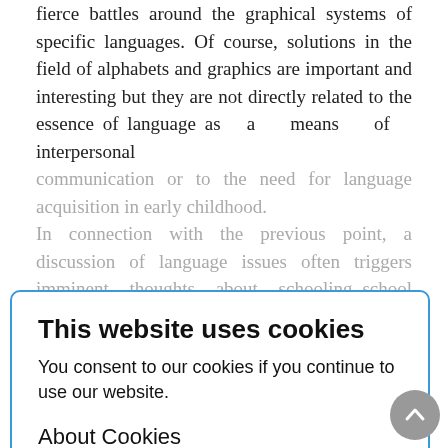fierce battles around the graphical systems of specific languages. Of course, solutions in the field of alphabets and graphics are important and interesting but they are not directly related to the essence of language as a means of interpersonal communication or to the need for language acquisition in early childhood. In connection with the previous point, a discussion of language issues often triggers imminent thoughts about schooling. school is important, indeed. However, from times immemorial languages were passed down from generation to generation in oral form, without the participation of schools. Neither school, nor writing alone can guarantee the survival of languages; they can only serve a subsidiary role, and they can be related to language attention
This website uses cookies
You consent to our cookies if you continue to use our website.
About Cookies
OK